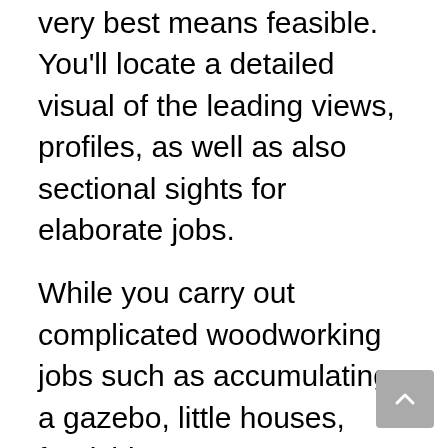very best means feasible. You'll locate a detailed visual of the leading views, profiles, as well as also sectional sights for elaborate jobs.
While you carry out complicated woodworking jobs such as accumulating a gazebo, little houses, furnishings, or garage areas, you are bound to envision as well as assess the strategy in various views.
The project treasury will certainly supply you with all the twisted details of every edge, every angle, and every joint of the project strategy. If you enjoy Woodworking, you could be aware that